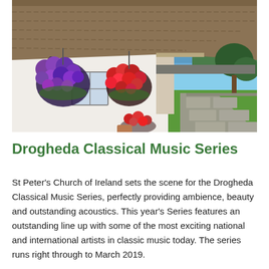[Figure (photo): A thatched-roof white cottage with hanging baskets of purple and red flowers, green lawn, and a stone path leading to a seaside view on a sunny day.]
Drogheda Classical Music Series
St Peter's Church of Ireland sets the scene for the Drogheda Classical Music Series, perfectly providing ambience, beauty and outstanding acoustics. This year's Series features an outstanding line up with some of the most exciting national and international artists in classic music today. The series runs right through to March 2019.